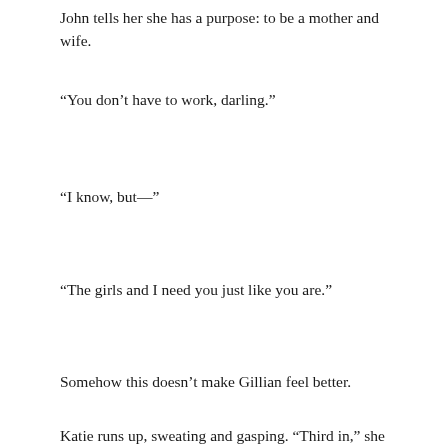John tells her she has a purpose: to be a mother and wife.
“You don’t have to work, darling.”
“I know, but—”
“The girls and I need you just like you are.”
Somehow this doesn’t make Gillian feel better.
Katie runs up, sweating and gasping. “Third in,” she says